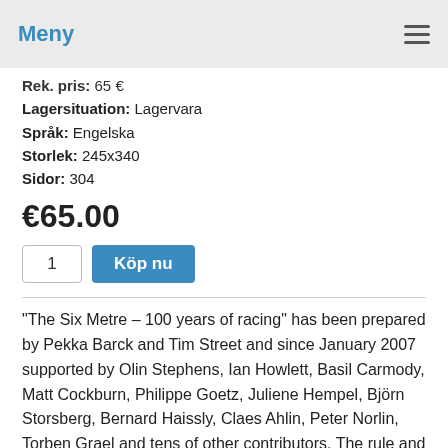Meny
Rek. pris: 65 €
Lagersituation: Lagervara
Språk: Engelska
Storlek: 245x340
Sidor: 304
€65.00
1  Köp nu
"The Six Metre – 100 years of racing" has been prepared by Pekka Barck and Tim Street and since January 2007 supported by Olin Stephens, Ian Howlett, Basil Carmody, Matt Cockburn, Philippe Goetz, Juliene Hempel, Björn Storsberg, Bernard Haissly, Claes Ahlin, Peter Norlin, Torben Grael and tens of other contributors. The rule and development of the class, all major trophies and races, country